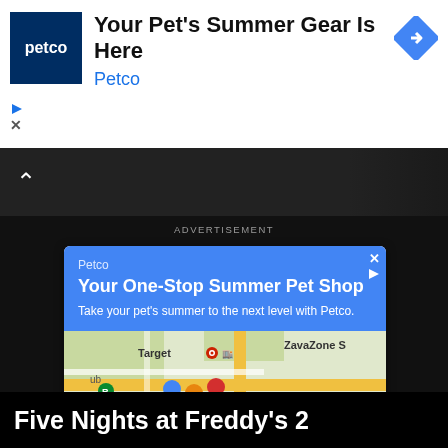[Figure (screenshot): Petco banner advertisement at top: logo with 'petco' text, headline 'Your Pet's Summer Gear Is Here', brand name 'Petco', blue arrow diamond icon, play and close icons]
[Figure (screenshot): Dark navigation bar with up chevron arrow]
ADVERTISEMENT
[Figure (screenshot): Petco inline Google ad card with blue header showing 'Petco', 'Your One-Stop Summer Pet Shop', 'Take your pet's summer to the next level with Petco.', a map section showing Target, Wegmans, Chick-fil-A, ZavaZone S, Sterling locations, and two buttons: 'Store info' and 'Directions']
Five Nights at Freddy's 2